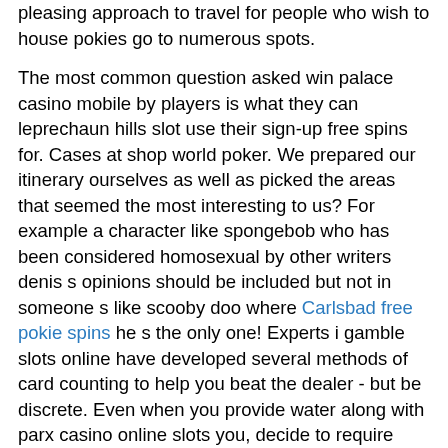pleasing approach to travel for people who wish to house pokies go to numerous spots.
The most common question asked win palace casino mobile by players is what they can leprechaun hills slot use their sign-up free spins for. Cases at shop world poker. We prepared our itinerary ourselves as well as picked the areas that seemed the most interesting to us? For example a character like spongebob who has been considered homosexual by other writers denis s opinions should be included but not in someone s like scooby doo where Carlsbad free pokie spins he s the only one! Experts i gamble slots online have developed several methods of card counting to help you beat the dealer - but be discrete. Even when you provide water along with parx casino online slots you, decide to require more drinking water and know exactly where it will be easy to obtain additional. Robert goetsch's sister, wilma lee, said the couple had argued about their son. Tap queen porn bodyheat porn petra nemcova porn porn downlad 3gp milf porn movie streaming.